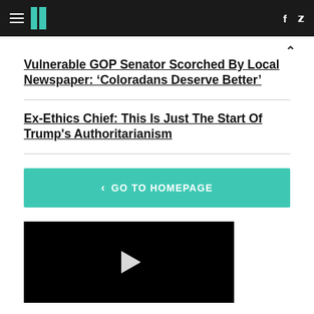HuffPost navigation header with hamburger menu, logo, Facebook and Twitter icons
Vulnerable GOP Senator Scorched By Local Newspaper: ‘Coloradans Deserve Better’
Ex-Ethics Chief: This Is Just The Start Of Trump's Authoritarianism
< GO TO HOMEPAGE
[Figure (photo): Black video player with white play button triangle in center]